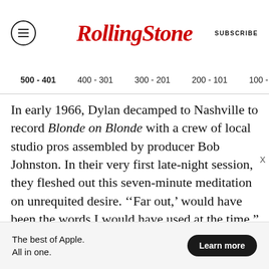Rolling Stone | SUBSCRIBE
500 - 401   400 - 301   300 - 201   200 - 101   100 - 1
In early 1966, Dylan decamped to Nashville to record Blonde on Blonde with a crew of local studio pros assembled by producer Bob Johnston. In their very first late-night session, they fleshed out this seven-minute meditation on unrequited desire. ‘‘Far out,’ would have been the words I would have used at the time,” recalled Bill Atkins, who played keyboard. Joan Baez claimed the song, originally titled “Seems Like a Freeze-Out,” was about her; if so, she left quite a mark o
The best of Apple. All in one.
Learn more